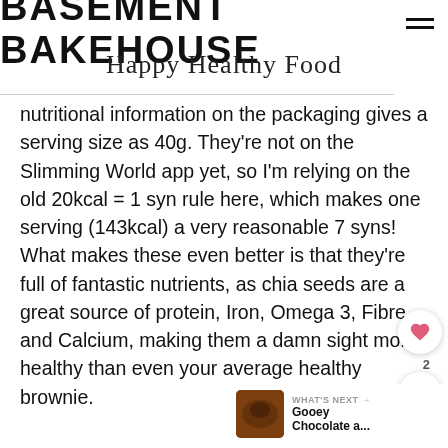BASEMENT BAKEHOUSE
Happy Healthy Food
nutritional information on the packaging gives a serving size as 40g. They're not on the Slimming World app yet, so I'm relying on the old 20kcal = 1 syn rule here, which makes one serving (143kcal) a very reasonable 7 syns! What makes these even better is that they're full of fantastic nutrients, as chia seeds are a great source of protein, Iron, Omega 3, Fibre and Calcium, making them a damn sight more healthy than even your average healthy brownie.
WHAT'S NEXT → Gooey Chocolate a...